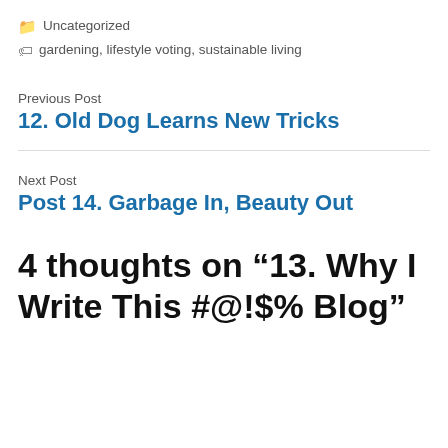Uncategorized
gardening, lifestyle voting, sustainable living
Previous Post
12. Old Dog Learns New Tricks
Next Post
Post 14. Garbage In, Beauty Out
4 thoughts on “13. Why I Write This #@!$% Blog”